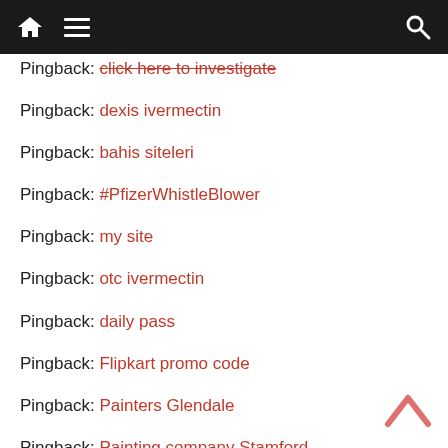Navigation bar with home icon, menu, and search
Pingback: click here to investigate (strikethrough link)
Pingback: dexis ivermectin
Pingback: bahis siteleri
Pingback: #PfizerWhistleBlower
Pingback: my site
Pingback: otc ivermectin
Pingback: daily pass
Pingback: Flipkart promo code
Pingback: Painters Glendale
Pingback: Painting company Stamford
Pingback: (partially visible)